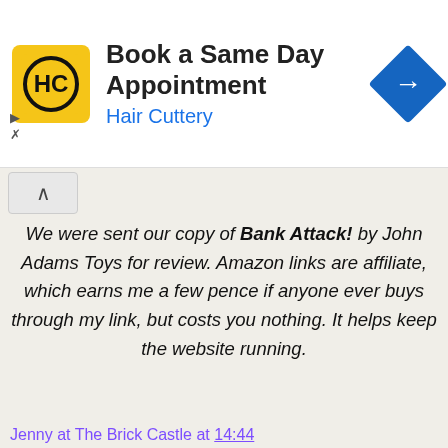[Figure (screenshot): Hair Cuttery advertisement banner with logo, 'Book a Same Day Appointment' heading, and navigation icon]
We were sent our copy of Bank Attack! by John Adams Toys for review. Amazon links are affiliate, which earns me a few pence if anyone ever buys through my link, but costs you nothing. It helps keep the website running.
Jenny at The Brick Castle at 14:44
Share
88 comments:
Solange  3 October 2019 at 15:15
Deed to my home and stock certificates.
Reply
Tracy Nixon  3 October 2019 at 17:04